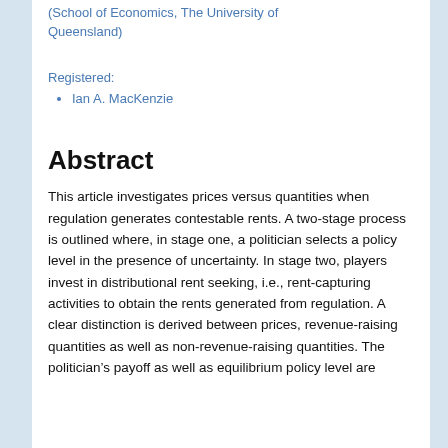(School of Economics, The University of Queensland)
Registered:
Ian A. MacKenzie
Abstract
This article investigates prices versus quantities when regulation generates contestable rents. A two-stage process is outlined where, in stage one, a politician selects a policy level in the presence of uncertainty. In stage two, players invest in distributional rent seeking, i.e., rent-capturing activities to obtain the rents generated from regulation. A clear distinction is derived between prices, revenue-raising quantities as well as non-revenue-raising quantities. The politician’s payoff as well as equilibrium policy level are